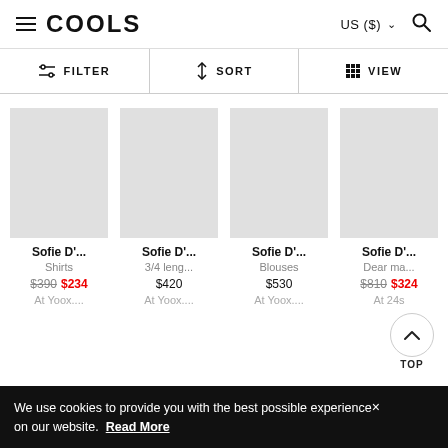COOLS — US ($)
FILTER | SORT | VIEW
Sofie D'... Shirts $390 $234 At Yoox....
Sofie D'... 3/4 leng... $420 At Yoox....
Sofie D'... Blouses $530 At Yoox....
Sofie D'... Dear ma... $810 $324 At 24s
TOP
We use cookies to provide you with the best possible experience× on our website. Read More